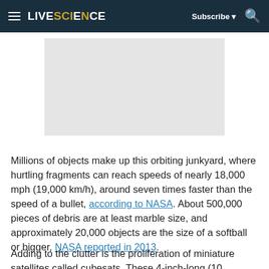LIVESCIENCE | Subscribe | Search
[Figure (other): Gray placeholder advertisement box]
Millions of objects make up this orbiting junkyard, where hurtling fragments can reach speeds of nearly 18,000 mph (19,000 km/h), around seven times faster than the speed of a bullet, according to NASA. About 500,000 pieces of debris are at least marble size, and approximately 20,000 objects are the size of a softball or bigger, NASA reported in 2013.
Adding to the clutter is the proliferation of miniature satellites called cubesats. These 4-inch-long (10